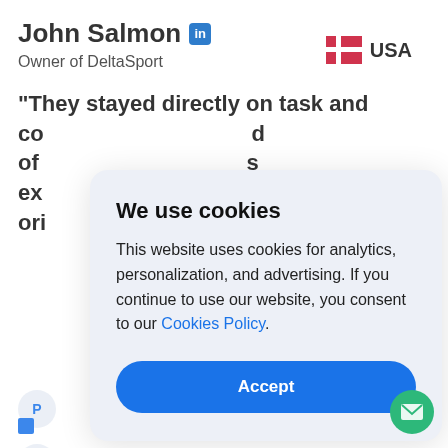John Salmon
Owner of DeltaSport
“They stayed directly on task and co…d of…s ex… ori…
We use cookies

This website uses cookies for analytics, personalization, and advertising. If you continue to use our website, you consent to our Cookies Policy.

Accept